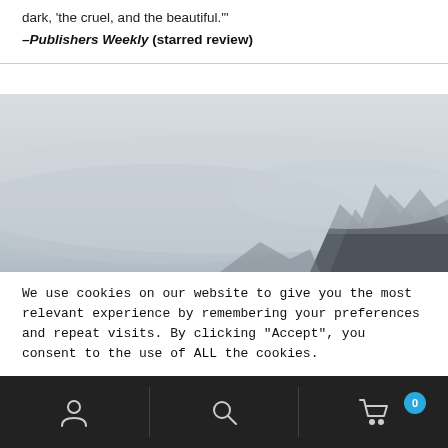dark, 'the cruel, and the beautiful.'"
—Publishers Weekly (starred review)
[Figure (photo): A misty, foggy landscape with dark rocky mountain peaks partially visible through the grey haze]
We use cookies on our website to give you the most relevant experience by remembering your preferences and repeat visits. By clicking “Accept”, you consent to the use of ALL the cookies.
Do not sell my personal information.
Navigation bar with user icon, search icon, and cart icon with badge showing 0